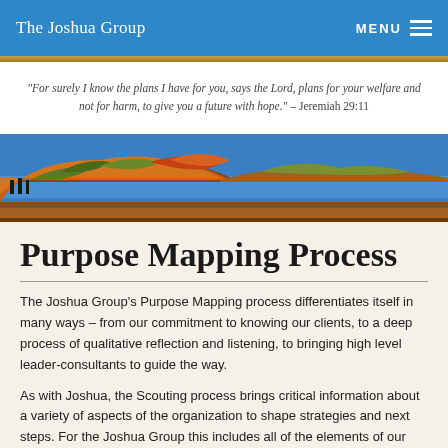The Joshua Group
“For surely I know the plans I have for you, says the Lord, plans for your welfare and not for harm, to give you a future with hope.” – Jeremiah 29:11
[Figure (illustration): Landscape painting showing orange and green hills against a blue sky with flat brown earth in the foreground]
Purpose Mapping Process
The Joshua Group’s Purpose Mapping process differentiates itself in many ways – from our commitment to knowing our clients, to a deep process of qualitative reflection and listening, to bringing high level leader-consultants to guide the way.
As with Joshua, the Scouting process brings critical information about a variety of aspects of the organization to shape strategies and next steps. For the Joshua Group this includes all of the elements of our Organizational Intelligence tools along with a